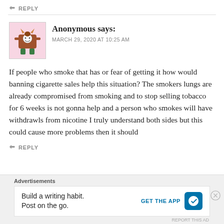↩ REPLY
Anonymous says: MARCH 29, 2020 AT 10:25 AM
If people who smoke that has or fear of getting it how would banning cigarette sales help this situation? The smokers lungs are already compromised from smoking and to stop selling tobacco for 6 weeks is not gonna help and a person who smokes will have withdrawls from nicotine I truly understand both sides but this could cause more problems then it should
↩ REPLY
Advertisements
Build a writing habit. Post on the go. GET THE APP